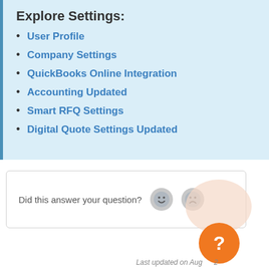Explore Settings:
User Profile
Company Settings
QuickBooks Online Integration
Accounting Updated
Smart RFQ Settings
Digital Quote Settings Updated
Did this answer your question?
Last updated on August 2